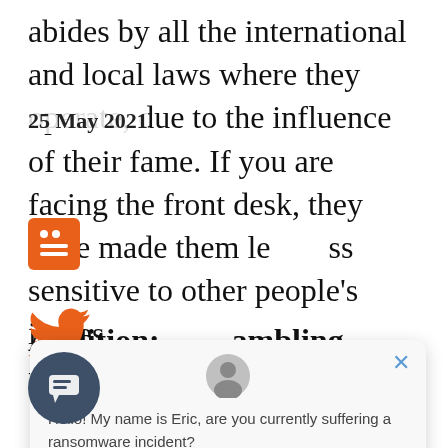abides by all the international and local laws where they operate, due to the influence of their fame. If you are facing the front desk, they were made them less sensitive to other people's issues.
25 May 2021
[Figure (screenshot): Orange icon with grid/list dots pattern]
[Figure (logo): Twitter bird logo in orange]
Addition: gambling information
ll enjoy spending e symbol of the keys can provide you with many free . So, in which you can obtain winning opportunities. Money form?
[Figure (screenshot): Chat popup with avatar person icon, close X button, text: Hello! My name is Eric, are you currently suffering a ransomware incident?]
[Figure (screenshot): Dark circle chat button at bottom left]